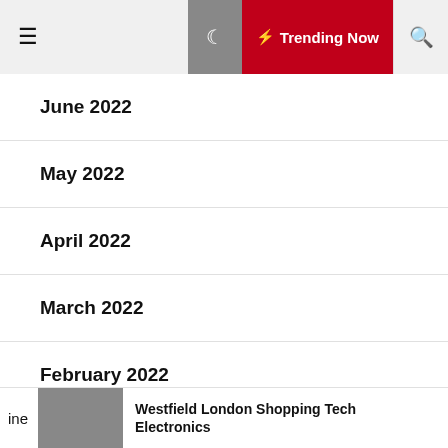≡ Trending Now 🔍
June 2022
May 2022
April 2022
March 2022
February 2022
January 2022
December 2021
ine  Westfield London Shopping Tech Electronics